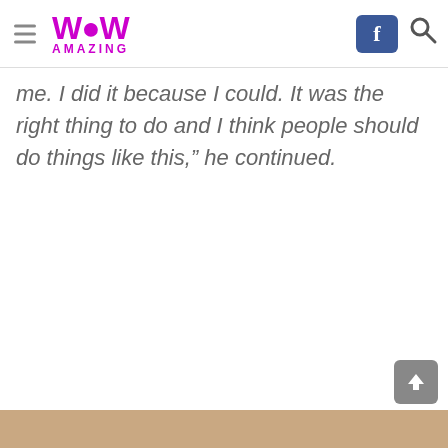WOW AMAZING
me. I did it because I could. It was the right thing to do and I think people should do things like this,” he continued.
[Figure (photo): Bottom partial photo showing a person, skin-tone background, cut off at bottom of page]